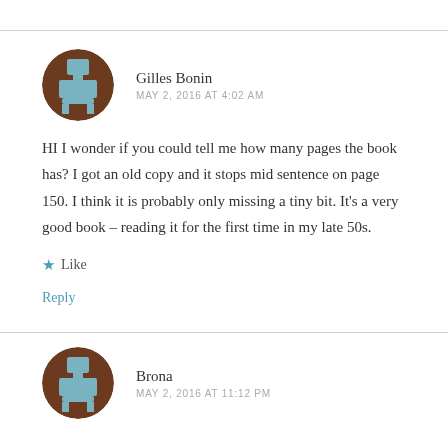[Figure (illustration): Brown circular avatar with a pixel-art style icon (gray chair/person shape) for user Gilles Bonin]
Gilles Bonin
MAY 2, 2016 AT 4:02 AM
HI I wonder if you could tell me how many pages the book has? I got an old copy and it stops mid sentence on page 150. I think it is probably only missing a tiny bit. It's a very good book – reading it for the first time in my late 50s.
Like
Reply
[Figure (illustration): Brown circular avatar with a pixel-art style icon (gray chair/person shape) for user Brona]
Brona
MAY 2, 2016 AT 11:12 PM